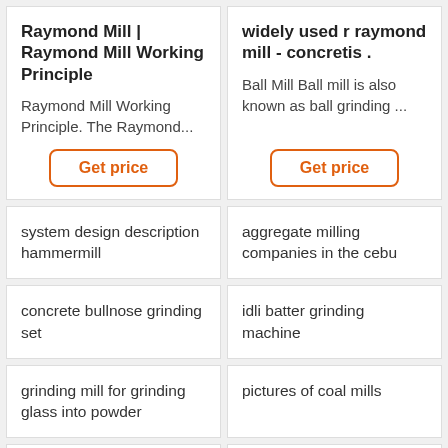Raymond Mill | Raymond Mill Working Principle
Raymond Mill Working Principle. The Raymond...
Get price
widely used r raymond mill - concretis .
Ball Mill Ball mill is also known as ball grinding ...
Get price
system design description hammermill
aggregate milling companies in the cebu
concrete bullnose grinding set
idli batter grinding machine
grinding mill for grinding glass into powder
pictures of coal mills
ball mill manufacturers in
steatite grinding ball